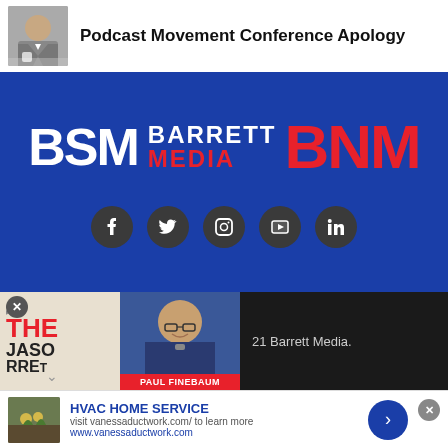[Figure (photo): Photo of a man in a grey suit sitting at a table]
Podcast Movement Conference Apology
[Figure (logo): Barrett Media logo - BSM and BNM on blue background with social media icons]
[Figure (photo): The Jason Barrett podcast cover art and Paul Finebaum photo thumbnail with text '21 Barrett Media.']
[Figure (photo): HVAC Home Service advertisement with garden/soil image]
HVAC HOME SERVICE
visit vanessaductwork.com/ to learn more
www.vanessaductwork.com